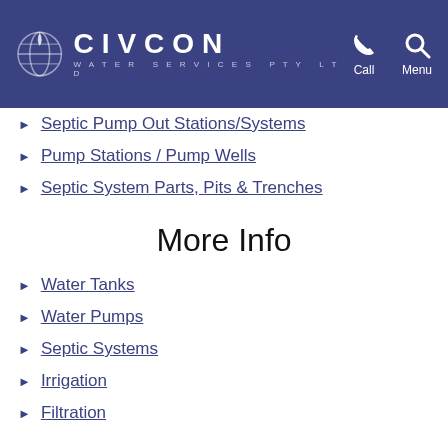CIVCON WATER SERVICES PTY LTD | Call | Menu
Septic Pump Out Stations/Systems
Pump Stations / Pump Wells
Septic System Parts, Pits & Trenches
More Info
Water Tanks
Water Pumps
Septic Systems
Irrigation
Filtration
More Pages